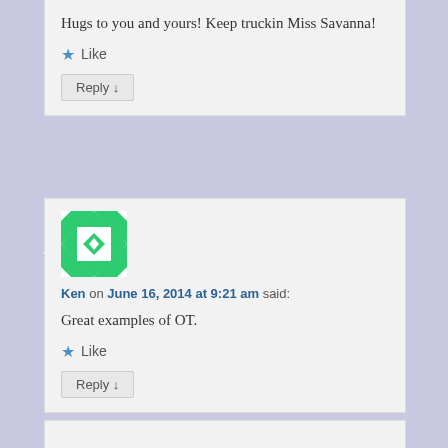Hugs to you and yours! Keep truckin Miss Savanna!
Like
Reply ↓
Ken on June 16, 2014 at 9:21 am said:
Great examples of OT.
Like
Reply ↓